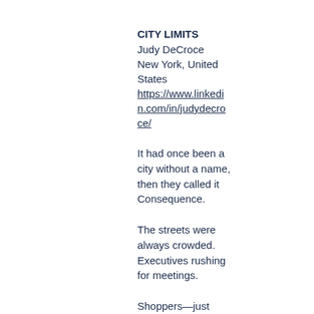CITY LIMITS
Judy DeCroce
New York, United States
https://www.linkedin.com/in/judydecroce/
It had once been a city without a name, then they called it Consequence.
The streets were always crowded. Executives rushing for meetings.
Shoppers—just people moving, surging on a blue October Tuesday.
She kept speeding